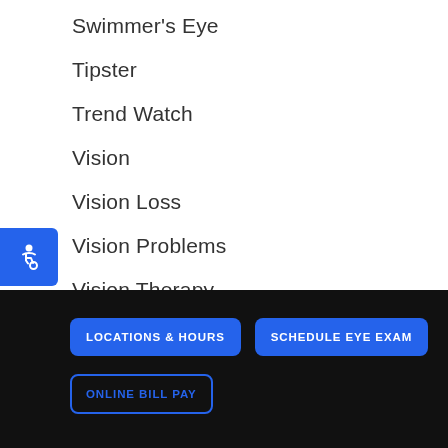Swimmer's Eye
Tipster
Trend Watch
Vision
Vision Loss
Vision Problems
Vision Therapy
LOCATIONS & HOURS | SCHEDULE EYE EXAM | ONLINE BILL PAY